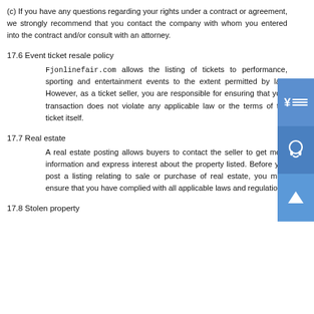(c) If you have any questions regarding your rights under a contract or agreement, we strongly recommend that you contact the company with whom you entered into the contract and/or consult with an attorney.
17.6 Event ticket resale policy
Fjonlinefair.com allows the listing of tickets to performance, sporting and entertainment events to the extent permitted by law. However, as a ticket seller, you are responsible for ensuring that your transaction does not violate any applicable law or the terms of the ticket itself.
17.7 Real estate
A real estate posting allows buyers to contact the seller to get more information and express interest about the property listed. Before you post a listing relating to sale or purchase of real estate, you must ensure that you have complied with all applicable laws and regulations
17.8 Stolen property